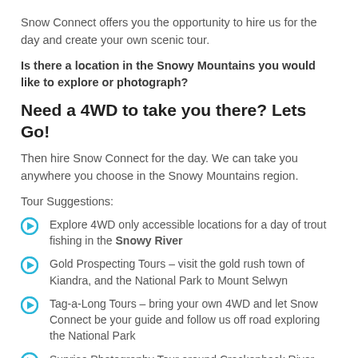Snow Connect offers you the opportunity to hire us for the day and create your own scenic tour.
Is there a location in the Snowy Mountains you would like to explore or photograph?
Need a 4WD to take you there? Lets Go!
Then hire Snow Connect for the day. We can take you anywhere you choose in the Snowy Mountains region.
Tour Suggestions:
Explore 4WD only accessible locations for a day of trout fishing in the Snowy River
Gold Prospecting Tours – visit the gold rush town of Kiandra, and the National Park to Mount Selwyn
Tag-a-Long Tours – bring your own 4WD and let Snow Connect be your guide and follow us off road exploring the National Park
Sunrise Photography Tour around Crackenback River